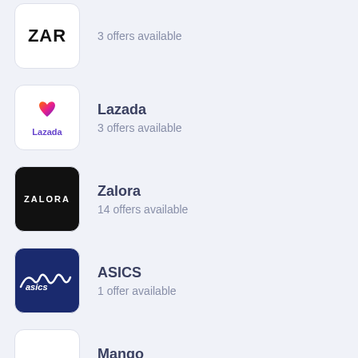Zara — 3 offers available
Lazada — 3 offers available
Zalora — 14 offers available
ASICS — 1 offer available
Mango — 1 offer available
Doughnut — 7 offers available